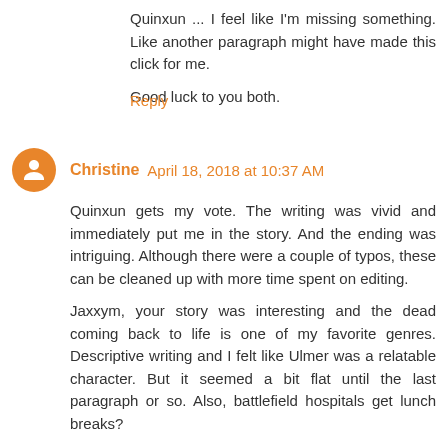Quinxun ... I feel like I'm missing something. Like another paragraph might have made this click for me.
Good luck to you both.
Reply
Christine April 18, 2018 at 10:37 AM
Quinxun gets my vote. The writing was vivid and immediately put me in the story. And the ending was intriguing. Although there were a couple of typos, these can be cleaned up with more time spent on editing.
Jaxxym, your story was interesting and the dead coming back to life is one of my favorite genres. Descriptive writing and I felt like Ulmer was a relatable character. But it seemed a bit flat until the last paragraph or so. Also, battlefield hospitals get lunch breaks?
Reply